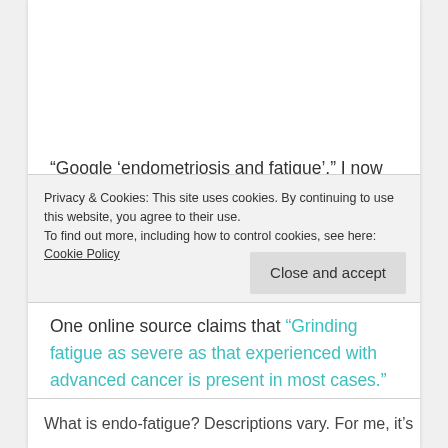“Google ‘endometriosis and fatigue’,” I now encourage my family and friends. The search brings up over 600,000 results. It’s not just ‘in my head’. The endo-fatigue is real.
One online source claims that “Grinding fatigue as severe as that experienced with advanced cancer is present in most cases.” It’s accepted that the reasons for this extreme exhaustion associated
Privacy & Cookies: This site uses cookies. By continuing to use this website, you agree to their use.
To find out more, including how to control cookies, see here: Cookie Policy
Close and accept
What is endo-fatigue? Descriptions vary. For me, it’s